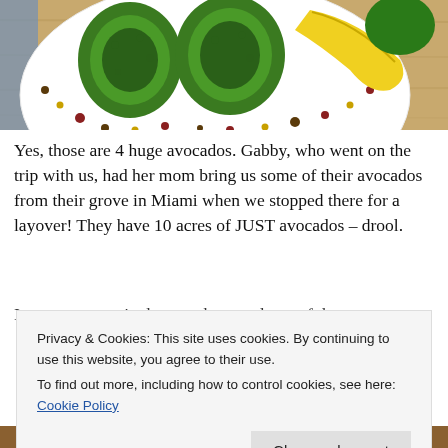[Figure (photo): Top-down photo of a white plate with polka dots holding 4 large green avocados, a yellow banana, and other fruit on a wooden table.]
Yes, those are 4 huge avocados. Gabby, who went on the trip with us, had her mom bring us some of their avocados from their grove in Miami when we stopped there for a layover! They have 10 acres of JUST avocados – drool.
I was so, so excited to get these and one of them was
Privacy & Cookies: This site uses cookies. By continuing to use this website, you agree to their use.
To find out more, including how to control cookies, see here: Cookie Policy
[Figure (photo): Partial photo visible at bottom of page.]